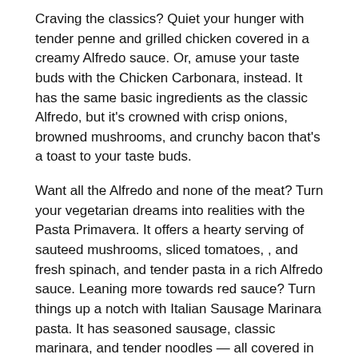Craving the classics? Quiet your hunger with tender penne and grilled chicken covered in a creamy Alfredo sauce. Or, amuse your taste buds with the Chicken Carbonara, instead. It has the same basic ingredients as the classic Alfredo, but it's crowned with crisp onions, browned mushrooms, and crunchy bacon that's a toast to your taste buds.
Want all the Alfredo and none of the meat? Turn your vegetarian dreams into realities with the Pasta Primavera. It offers a hearty serving of sauteed mushrooms, sliced tomatoes, , and fresh spinach, and tender pasta in a rich Alfredo sauce. Leaning more towards red sauce? Turn things up a notch with Italian Sausage Marinara pasta. It has seasoned sausage, classic marinara, and tender noodles — all covered in oven-melted provolone.
If none of the menu options awaken your appetite, build your own pasta to feed your hunger and your creative side. You'd be hard-pressed to find another pasta delivery place in Towson that offers a build your own pasta option! First, pick your favorite sauce — rich Alfredo or hearty marinara. Then, choose a combination of three toppings to season your pasta dinner just the way you like it!